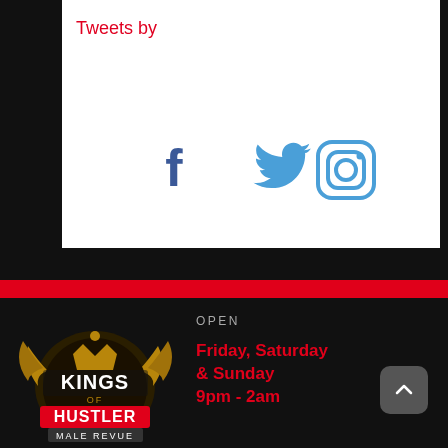Tweets by
[Figure (infographic): Social media icons: Facebook, Twitter (bird), Instagram in blue/steel-blue color on white background]
[Figure (logo): Kings of Hustler Male Revue logo - circular badge with wings, crown, text in white and red on dark/gold background]
OPEN
Friday, Saturday & Sunday
9pm - 2am